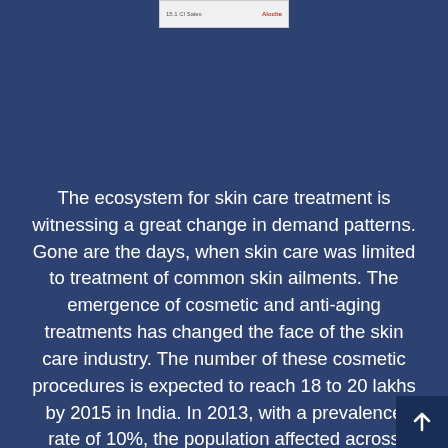[Figure (screenshot): Partial image snippet showing a product label or chart excerpt at the top of the page, with text on the left and 'Aloche' branding on the right in red.]
The ecosystem for skin care treatment is witnessing a great change in demand patterns. Gone are the days, when skin care was limited to treatment of common skin ailments. The emergence of cosmetic and anti-aging treatments has changed the face of the skin care industry. The number of these cosmetic procedures is expected to reach 18 to 20 lakhs by 2015 in India. In 2013, with a prevalence rate of 10%, the population affected across India from skin disease is estimated at nearly 15.1 crore. It is